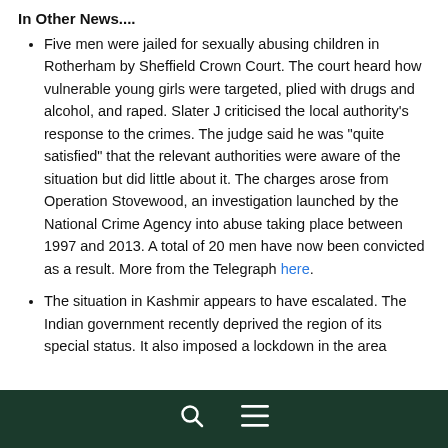In Other News....
Five men were jailed for sexually abusing children in Rotherham by Sheffield Crown Court. The court heard how vulnerable young girls were targeted, plied with drugs and alcohol, and raped. Slater J criticised the local authority's response to the crimes. The judge said he was "quite satisfied" that the relevant authorities were aware of the situation but did little about it. The charges arose from Operation Stovewood, an investigation launched by the National Crime Agency into abuse taking place between 1997 and 2013. A total of 20 men have now been convicted as a result. More from the Telegraph here.
The situation in Kashmir appears to have escalated. The Indian government recently deprived the region of its special status. It also imposed a lockdown in the area
🔍 ☰